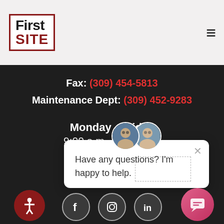[Figure (logo): FirstSITE logo in red bordered box with hamburger menu icon]
Fax: (309) 454-5813
Maintenance Dept: (309) 452-9283
Monday - Friday
9:00 a.m. - 6:00 p.m.
Saturday
10:00am - 4:00 p.m.
[Figure (screenshot): Chat popup with two agent avatars and message: Have any questions? I'm happy to help.]
[Figure (other): Accessibility button, social media icons (Facebook, Instagram, LinkedIn), and chat FAB button]